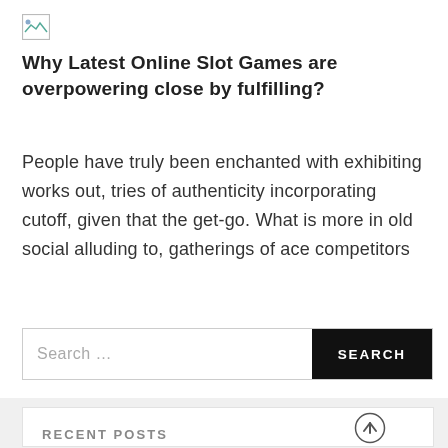[Figure (logo): Broken image placeholder icon (small rectangular icon with mountain/landscape graphic)]
Why Latest Online Slot Games are overpowering close by fulfilling?
People have truly been enchanted with exhibiting works out, tries of authenticity incorporating cutoff, given that the get-go. What is more in old social alluding to, gatherings of ace competitors
RECENT POSTS